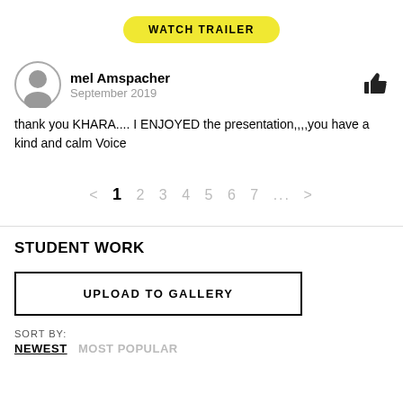[Figure (other): Yellow pill-shaped 'WATCH TRAILER' button]
mel Amspacher
September 2019
thank you KHARA.... I ENJOYED the presentation,,,,you have a kind and calm Voice
< 1 2 3 4 5 6 7 ... >
STUDENT WORK
UPLOAD TO GALLERY
SORT BY:
NEWEST   MOST POPULAR